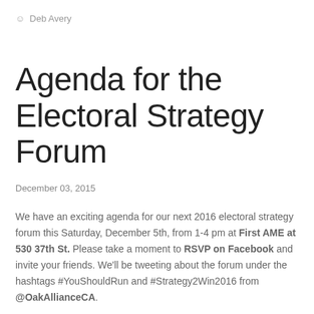Deb Avery
Agenda for the Electoral Strategy Forum
December 03, 2015
We have an exciting agenda for our next 2016 electoral strategy forum this Saturday, December 5th, from 1-4 pm at First AME at 530 37th St. Please take a moment to RSVP on Facebook and invite your friends. We'll be tweeting about the forum under the hashtags #YouShouldRun and #Strategy2Win2016 from @OakAllianceCA.